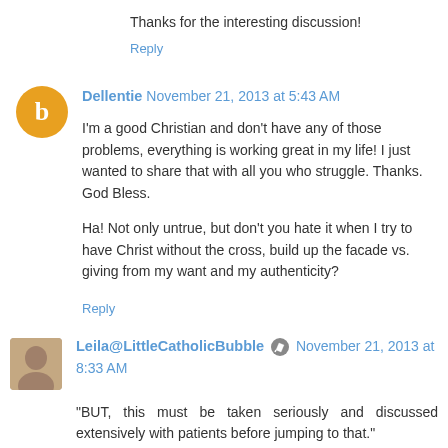Thanks for the interesting discussion!
Reply
Dellentie  November 21, 2013 at 5:43 AM
I'm a good Christian and don't have any of those problems, everything is working great in my life! I just wanted to share that with all you who struggle. Thanks. God Bless.
Ha! Not only untrue, but don't you hate it when I try to have Christ without the cross, build up the facade vs. giving from my want and my authenticity?
Reply
Leila@LittleCatholicBubble  November 21, 2013 at 8:33 AM
"BUT, this must be taken seriously and discussed extensively with patients before jumping to that."